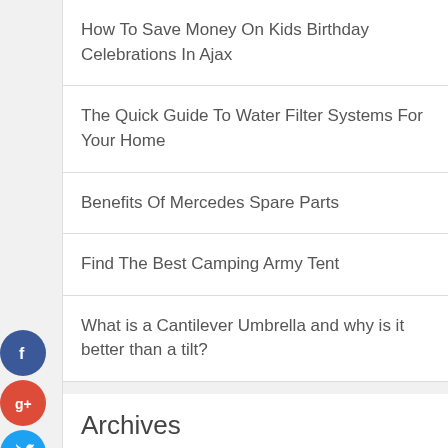How To Save Money On Kids Birthday Celebrations In Ajax
The Quick Guide To Water Filter Systems For Your Home
Benefits Of Mercedes Spare Parts
Find The Best Camping Army Tent
What is a Cantilever Umbrella and why is it better than a tilt?
Archives